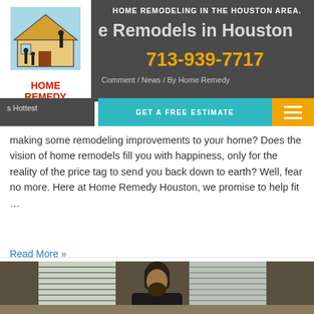HOME REMODELING IN THE HOUSTON AREA.
Home Remodels in Houston
713-939-7717
Comment / News / By Home Remedy
GET A FREE ESTIMATE
Houston's Hottest ... want a making some remodeling improvements to your home? Does the vision of home remodels fill you with happiness, only for the reality of the price tag to send you back down to earth? Well, fear no more. Here at Home Remedy Houston, we promise to help fit …
Read More »
[Figure (photo): A bearded man sitting at a desk with windows and blinds in the background]